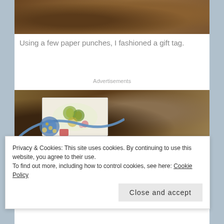[Figure (photo): Top portion of a photo showing brown textured surface (soil or granite) with craft supplies, partially cropped at top]
Using a few paper punches, I fashioned a gift tag.
Advertisements
[Figure (photo): Photo showing craft supplies on a brown textured surface: blue ribbon, brooch with gems, botanical print gift tag card]
[Figure (photo): Bottom strip of another photo, partially visible]
Privacy & Cookies: This site uses cookies. By continuing to use this website, you agree to their use.
To find out more, including how to control cookies, see here: Cookie Policy
Close and accept